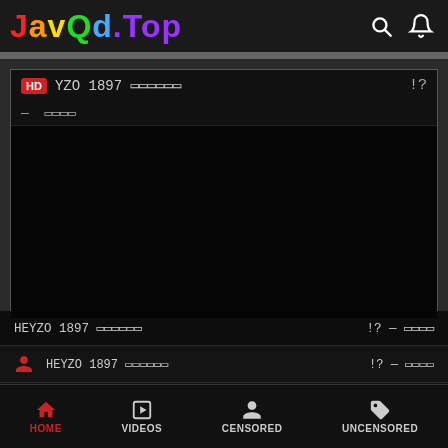JavQd.Top
[Figure (screenshot): Video player showing HEYZO 1897 with HD badge, black screen, title bar]
HEYZO 1897 □□□□□□ !? — □□□□
HEYZO 1897 □□□□□□ !? — □□□□
heyzo hd 1897 full free stream, heyzo hd 1897 fu…
HOME  VIDEOS  CENSORED  UNCENSORED